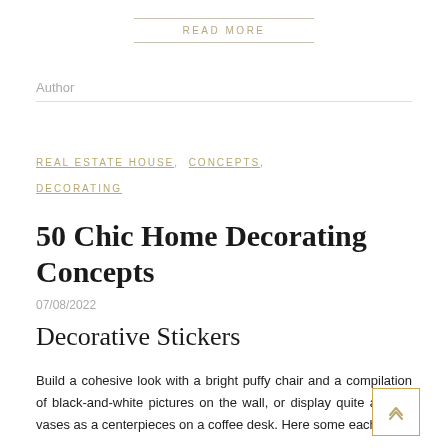READ MORE
Author
REAL ESTATE HOUSE,  CONCEPTS,  DECORATING
50 Chic Home Decorating Concepts
07/08/2022
Decorative Stickers
Build a cohesive look with a bright puffy chair and a compilation of black-and-white pictures on the wall, or display quite a lot of vases as a centerpieces on a coffee desk. Here some each to